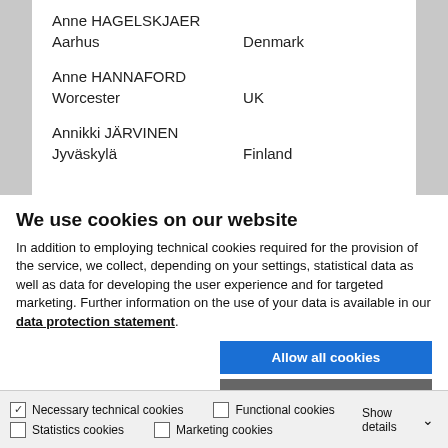Anne HAGELSKJAER
Aarhus    Denmark
Anne HANNAFORD
Worcester    UK
Annikki JÄRVINEN
Jyväskylä    Finland
We use cookies on our website
In addition to employing technical cookies required for the provision of the service, we collect, depending on your settings, statistical data as well as data for developing the user experience and for targeted marketing. Further information on the use of your data is available in our data protection statement.
Allow all cookies
Allow selection
Use necessary cookies only
✓ Necessary technical cookies    □ Functional cookies    □ Statistics cookies    □ Marketing cookies    Show details ∨